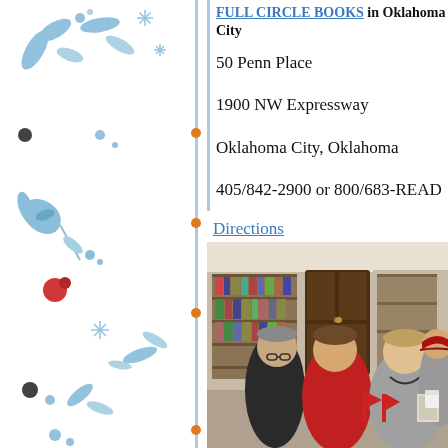FULL CIRCLE BOOKS in Oklahoma City
50 Penn Place
1900 NW Expressway
Oklahoma City, Oklahoma
405/842-2900 or 800/683-READ
Directions
[Figure (photo): Interior of Full Circle Books store showing customers browsing books at a signing or event. Bookshelves visible in background, people in red and grey clothing in foreground.]